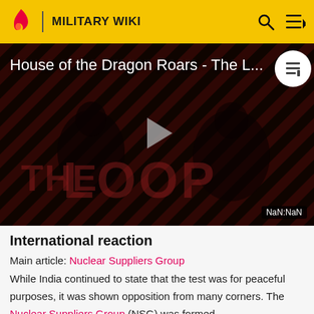MILITARY WIKI
[Figure (screenshot): Video thumbnail for 'House of the Dragon Roars - The L...' with THE LOOP branding, dark reddish diagonal stripe background, two silhouetted figures, a play button, and NaN:NaN timestamp overlay]
International reaction
Main article: Nuclear Suppliers Group
While India continued to state that the test was for peaceful purposes, it was shown opposition from many corners. The Nuclear Suppliers Group (NSG) was formed